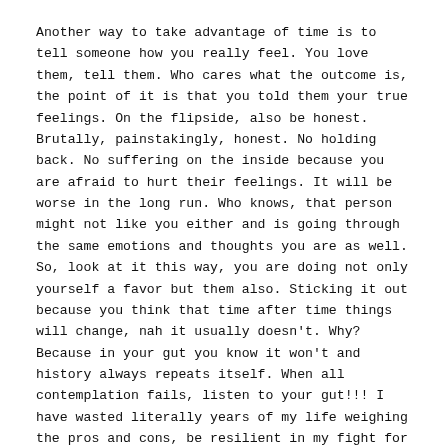Another way to take advantage of time is to tell someone how you really feel. You love them, tell them. Who cares what the outcome is, the point of it is that you told them your true feelings. On the flipside, also be honest. Brutally, painstakingly, honest. No holding back. No suffering on the inside because you are afraid to hurt their feelings. It will be worse in the long run. Who knows, that person might not like you either and is going through the same emotions and thoughts you are as well. So, look at it this way, you are doing not only yourself a favor but them also. Sticking it out because you think that time after time things will change, nah it usually doesn't. Why? Because in your gut you know it won't and history always repeats itself. When all contemplation fails, listen to your gut!!! I have wasted literally years of my life weighing the pros and cons, be resilient in my fight for true love but when it's not there, it's not there. I will leave that for another post lol.
Take advantage of time by not procrastinating. If there is a thought in your mind about doing something, bettering yourself, finishing school, do it. You can't rewind time and your age. As you get older things can sometimes get harder. Not all the time, just sometimes.